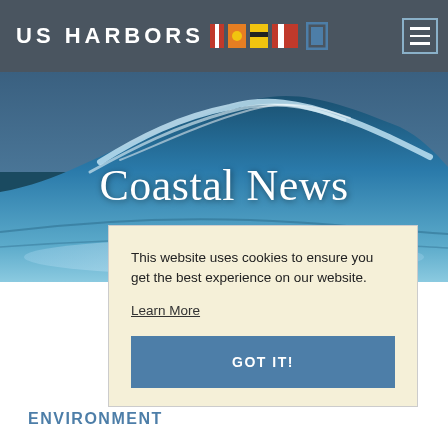US HARBORS
[Figure (photo): Ocean wave photo used as hero background for Coastal News page]
Coastal News
This website uses cookies to ensure you get the best experience on our website. Learn More
GOT IT!
ENVIRONMENT